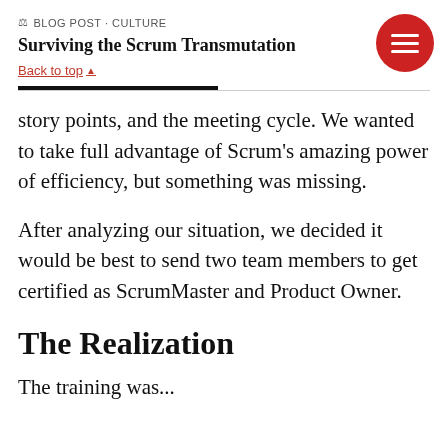BLOG POST · CULTURE
Surviving the Scrum Transmutation
Back to top ▲
story points, and the meeting cycle. We wanted to take full advantage of Scrum's amazing power of efficiency, but something was missing.
After analyzing our situation, we decided it would be best to send two team members to get certified as ScrumMaster and Product Owner.
The Realization
The training was...